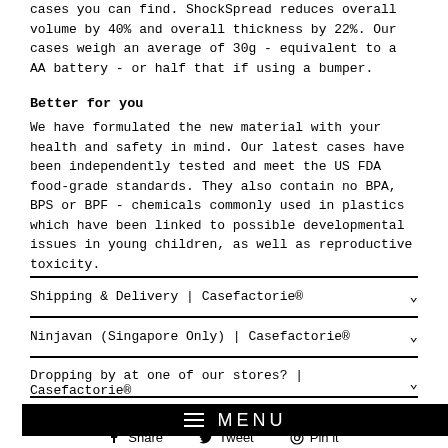cases you can find. ShockSpread reduces overall volume by 40% and overall thickness by 22%. Our cases weigh an average of 30g - equivalent to a AA battery - or half that if using a bumper.
Better for you
We have formulated the new material with your health and safety in mind. Our latest cases have been independently tested and meet the US FDA food-grade standards. They also contain no BPA, BPS or BPF - chemicals commonly used in plastics which have been linked to possible developmental issues in young children, as well as reproductive toxicity.
Shipping & Delivery | Casefactorie®
Ninjavan (Singapore Only) | Casefactorie®
Dropping by at one of our stores? | Casefactorie®
[Figure (screenshot): Black menu bar with hamburger icon and 'MENU' text in white]
Share   Tweet   Pin it